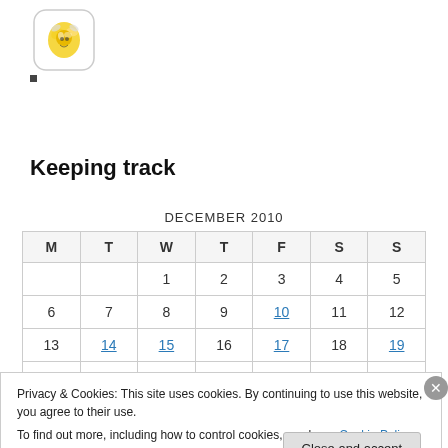[Figure (logo): Small illustrated logo in a rounded rectangle shape showing a cartoon character/bee, yellow tones]
Keeping track
| M | T | W | T | F | S | S |
| --- | --- | --- | --- | --- | --- | --- |
|  |  | 1 | 2 | 3 | 4 | 5 |
| 6 | 7 | 8 | 9 | 10 | 11 | 12 |
| 13 | 14 | 15 | 16 | 17 | 18 | 19 |
| 20 | 21 | 22 | 23 | 24 | 25 | 26 |
| 27 | 28 | 29 | 30 | 31 |  |  |
Privacy & Cookies: This site uses cookies. By continuing to use this website, you agree to their use.
To find out more, including how to control cookies, see here: Cookie Policy